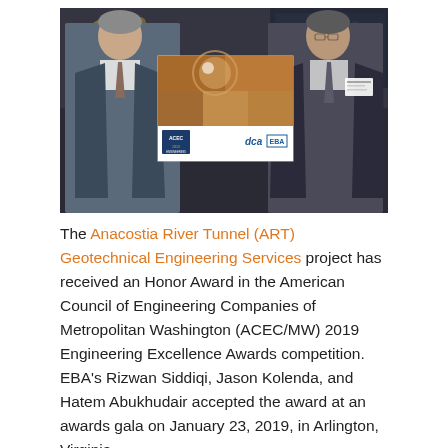[Figure (photo): Two men in business attire standing on either side of a large poster board displaying the Anacostia River Tunnel project, at an awards gala venue. The poster shows tunneling/geotechnical imagery and logos including ACEC 2019 Engineering Excellence Awards, dca, and EBA.]
The Anacostia River Tunnel (ART) Geotechnical Engineering Services project has received an Honor Award in the American Council of Engineering Companies of Metropolitan Washington (ACEC/MW) 2019 Engineering Excellence Awards competition. EBA's Rizwan Siddiqi, Jason Kolenda, and Hatem Abukhudair accepted the award at an awards gala on January 23, 2019, in Arlington, Virginia.